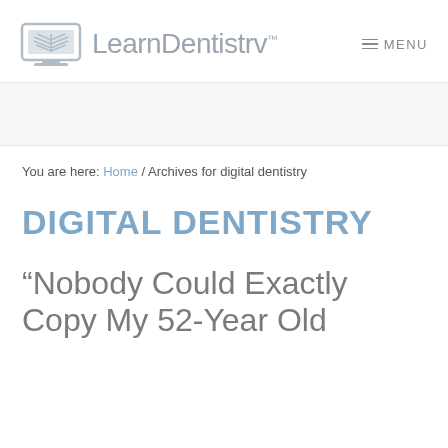LearnDentistrv™  MENU
You are here: Home / Archives for digital dentistry
DIGITAL DENTISTRY
“Nobody Could Exactly Copy My 52-Year Old